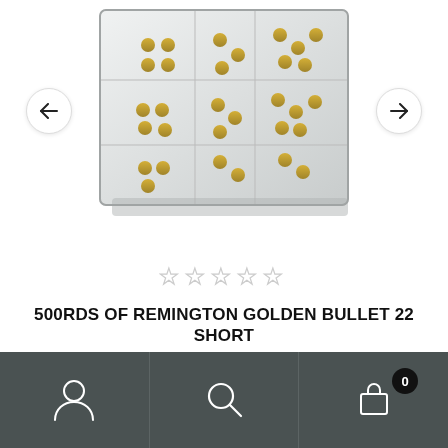[Figure (photo): Product photo of a clear acrylic storage box containing Remington Golden Bullet 22 Short ammunition rounds, viewed from above at an angle, showing gold bullet tips arranged in compartments.]
★★★★★ (empty stars rating)
500RDS OF REMINGTON GOLDEN BULLET 22 SHORT
$213.00
ADD TO CART